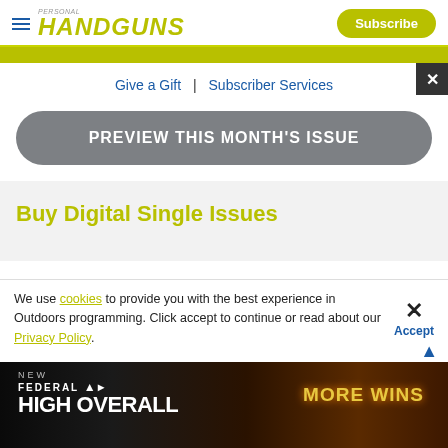HANDGUNS | Subscribe
Give a Gift | Subscriber Services
PREVIEW THIS MONTH'S ISSUE
Buy Digital Single Issues
We use cookies to provide you with the best experience in Outdoors programming. Click accept to continue or read about our Privacy Policy.
[Figure (screenshot): Federal High Overall advertisement banner — dark background with orange fire imagery, text reading NEW FEDERAL HIGH OVERALL MORE WINS]